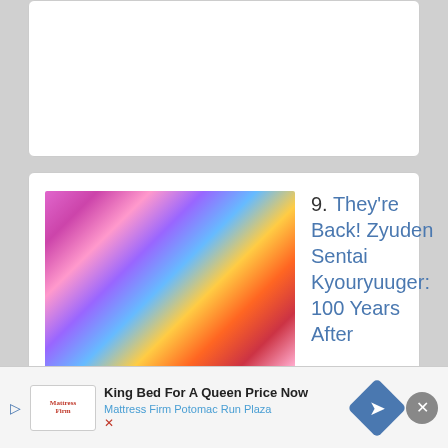[Figure (illustration): Top card partially visible, white card with gray border]
9. They're Back! Zyuden Sentai Kyouryuuger: 100 Years After
Watched - Wanted
+ Custom
4
5 watched
0 wanted
10. Doubutsu Sentai Zyuohger vs. Ninninger the Movie: Super Sentai's
King Bed For A Queen Price Now
Mattress Firm Potomac Run Plaza